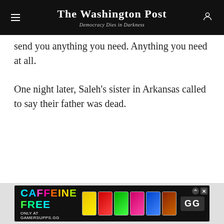The Washington Post — Democracy Dies in Darkness
send you anything you need. Anything you need at all.
One night later, Saleh's sister in Arkansas called to say their father was dead.
[Figure (other): Advertisement banner: CAFFEINE FREE ONLY AT GAMERSUPPS.GG with colorful energy drink cans and GG logo]